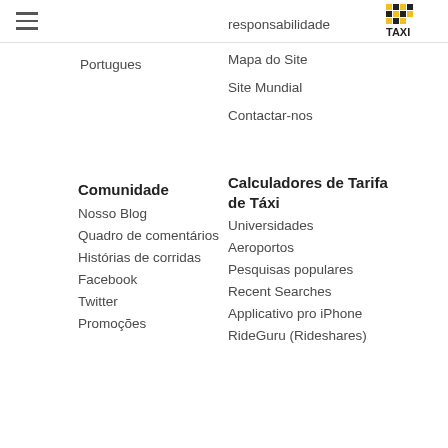Taxi Fare Finder logo and hamburger menu
Portugues
responsabilidade
Mapa do Site
Site Mundial
Contactar-nos
Comunidade
Nosso Blog
Quadro de comentários
Histórias de corridas
Facebook
Twitter
Promoções
Calculadores de Tarifa de Táxi
Universidades
Aeroportos
Pesquisas populares
Recent Searches
Applicativo pro iPhone
RideGuru (Rideshares)